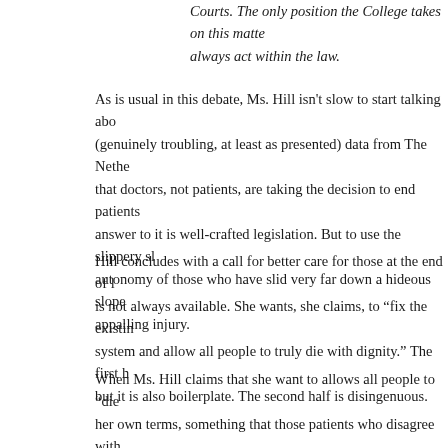Courts. The only position the College takes on this matter always act within the law.
As is usual in this debate, Ms. Hill isn't slow to start talking about (genuinely troubling, at least as presented) data from The Netherlands that doctors, not patients, are taking the decision to end patients' lives. The answer to it is well-crafted legislation. But to use the slippery slope to deny autonomy of those who have slid very far down a hideous slope of illness or appalling injury.
Hill concludes with a call for better care for those at the end of life that is not always available. She wants, she claims, to "fix the existing system and allow all people to truly die with dignity." The first half is fine, but it is also boilerplate. The second half is disingenuous.
When Ms. Hill claims that she want to allows all people to "die" on her own terms, something that those patients who disagree with her find horribly arrogant and unforgivably cruel.